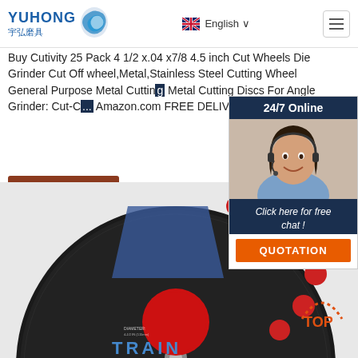YUHONG 宇弘磨具 | English | Navigation
Buy Cutivity 25 Pack 4 1/2 x.04 x7/8 4.5 inch Cut Wheels Die Grinder Cut Off wheel,Metal,Stainless Steel Cutting Wheel General Purpose Metal Cutting Metal Cutting Discs For Angle Grinder: Cut-O... Amazon.com FREE DELIVERY possible on
[Figure (screenshot): Chat widget with 24/7 Online label, customer service representative photo, 'Click here for free chat!' text, and QUOTATION button]
Get Price
[Figure (photo): Close-up of a black metal cutting disc/wheel with certification marks and brand label TRAIN visible at bottom]
[Figure (other): TOP button with dotted arc in orange/red]